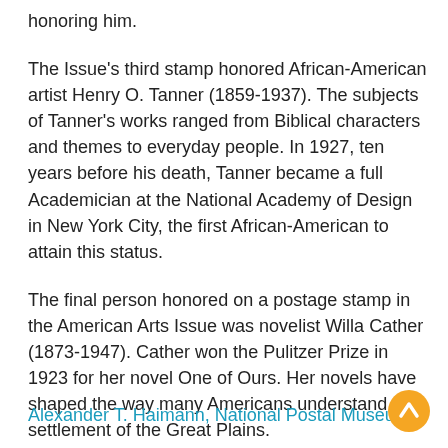honoring him.
The Issue's third stamp honored African-American artist Henry O. Tanner (1859-1937). The subjects of Tanner's works ranged from Biblical characters and themes to everyday people. In 1927, ten years before his death, Tanner became a full Academician at the National Academy of Design in New York City, the first African-American to attain this status.
The final person honored on a postage stamp in the American Arts Issue was novelist Willa Cather (1873-1947). Cather won the Pulitzer Prize in 1923 for her novel One of Ours. Her novels have shaped the way many Americans understand the settlement of the Great Plains.
Alexander T. Haimann, National Postal Museum